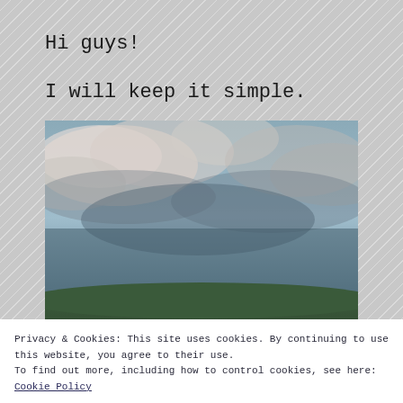Hi guys!
I will keep it simple.
[Figure (photo): Person viewed from behind looking up at a dramatic cloudy sky, outdoors]
Privacy & Cookies: This site uses cookies. By continuing to use this website, you agree to their use. To find out more, including how to control cookies, see here: Cookie Policy
Close and accep